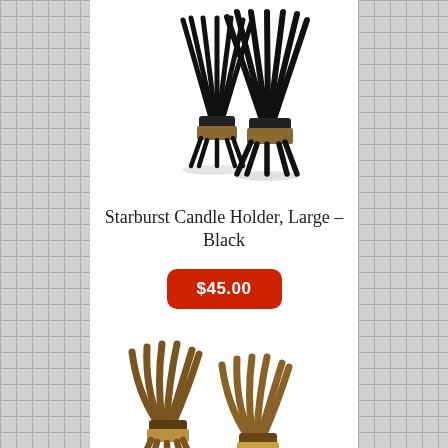[Figure (photo): Two black starburst-style candle holders with gold candle cups at center, spiky radiating arms]
Starburst Candle Holder, Large – Black
$45.00
[Figure (photo): Two brown/natural wood starburst-style candle holders with gold candle cups, curved arms, smaller size]